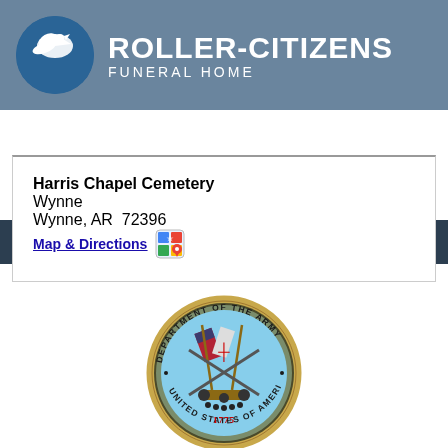Roller-Citizens Funeral Home
Cemetery
Harris Chapel Cemetery
Wynne
Wynne, AR  72396
Map & Directions
[Figure (logo): US Department of the Army seal — circular emblem with text 'Department of the Army United States of America 1775', featuring crossed rifles, flags, cannon, and eagle crest on a blue background with gold border]